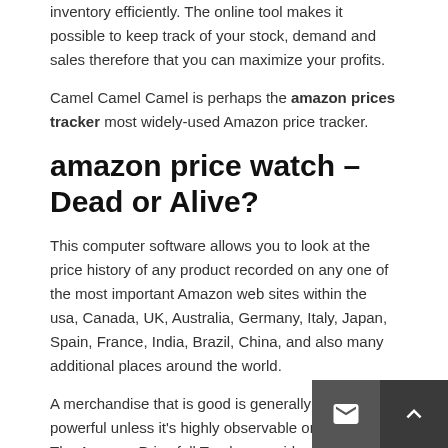inventory efficiently. The online tool makes it possible to keep track of your stock, demand and sales therefore that you can maximize your profits.
Camel Camel Camel is perhaps the amazon prices tracker most widely-used Amazon price tracker.
amazon price watch – Dead or Alive?
This computer software allows you to look at the price history of any product recorded on any one of the most important Amazon web sites within the usa, Canada, UK, Australia, Germany, Italy, Japan, Spain, France, India, Brazil, China, and also many additional places around the world.
A merchandise that is good is generally less powerful unless it's highly observable on Amazon. The Amazon Price fall Tracker provides you with all the means to...